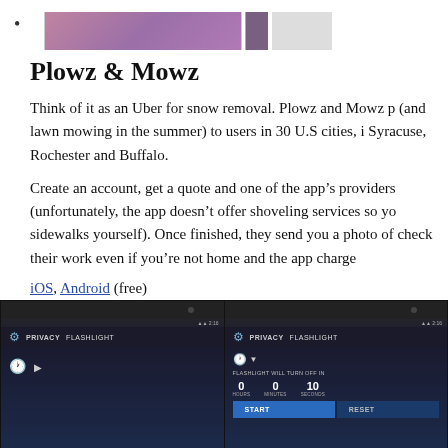[Figure (screenshot): App screenshot strip showing purple/pink image at top]
Plowz & Mowz
Think of it as an Uber for snow removal. Plowz and Mowz p (and lawn mowing in the summer) to users in 30 U.S cities, i Syracuse, Rochester and Buffalo.
Create an account, get a quote and one of the app's providers (unfortunately, the app doesn't offer shoveling services so yo sidewalks yourself). Once finished, they send you a photo of check their work even if you're not home and the app charge
iOS, Android (free)
Image: Caribou Apps
[Figure (screenshot): Two Privacy Flashlight app screenshots on Android phones showing the app interface with START and RESET buttons]